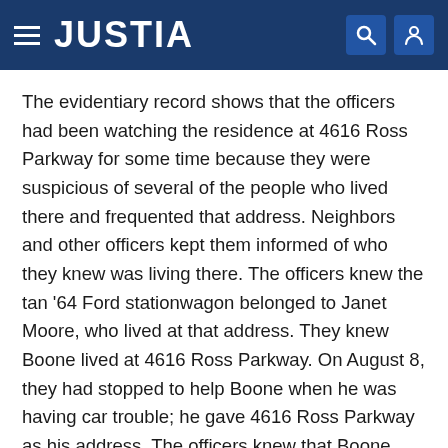JUSTIA
The evidentiary record shows that the officers had been watching the residence at 4616 Ross Parkway for some time because they were suspicious of several of the people who lived there and frequented that address. Neighbors and other officers kept them informed of who they knew was living there. The officers knew the tan '64 Ford stationwagon belonged to Janet Moore, who lived at that address. They knew Boone lived at 4616 Ross Parkway. On August 8, they had stopped to help Boone when he was having car trouble; he gave 4616 Ross Parkway as his address. The officers knew that Boone had been involved in prior robberies. He had been charged with aggravated robbery of another Town & Country Market in Wichita on June 25, 1974, and released on bond.